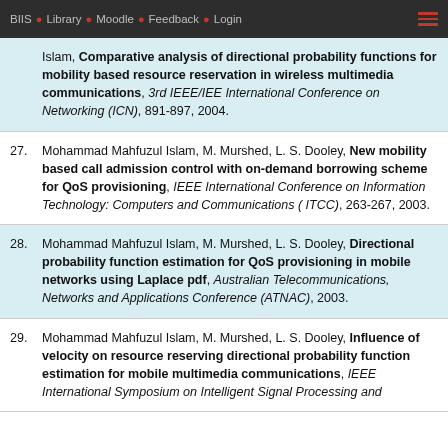BIIS * Library * Moodle * Feedback * Login
Islam, Comparative analysis of directional probability functions for mobility based resource reservation in wireless multimedia communications, 3rd IEEE/IEE International Conference on Networking (ICN), 891-897, 2004.
27. Mohammad Mahfuzul Islam, M. Murshed, L. S. Dooley, New mobility based call admission control with on-demand borrowing scheme for QoS provisioning, IEEE International Conference on Information Technology: Computers and Communications (ITCC), 263-267, 2003.
28. Mohammad Mahfuzul Islam, M. Murshed, L. S. Dooley, Directional probability function estimation for QoS provisioning in mobile networks using Laplace pdf, Australian Telecommunications, Networks and Applications Conference (ATNAC), 2003.
29. Mohammad Mahfuzul Islam, M. Murshed, L. S. Dooley, Influence of velocity on resource reserving directional probability function estimation for mobile multimedia communications, IEEE International Symposium on Intelligent Signal Processing and